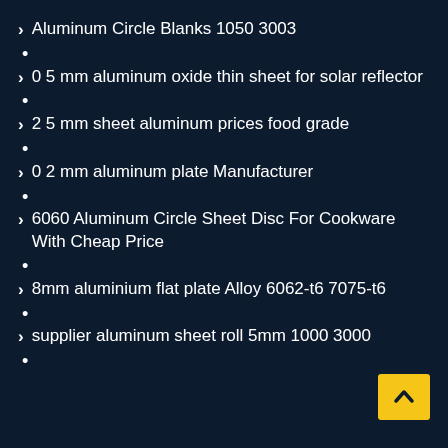Aluminum Circle Blanks 1050 3003
•
0 5 mm aluminum oxide thin sheet for solar reflector
•
2 5 mm sheet aluminum prices food grade
•
0 2 mm aluminum plate Manufacturer
•
6060 Aluminum Circle Sheet Disc For Cookware With Cheap Price
•
8mm aluminium flat plate Alloy 6062-t6 7075-t6
•
supplier aluminum sheet roll 5mm 1000 3000
•